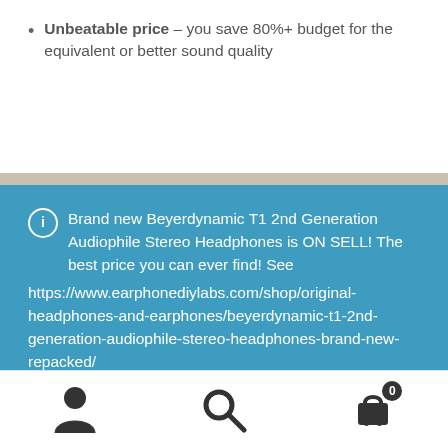Unbeatable price – you save 80%+ budget for the equivalent or better sound quality
Brand new Beyerdynamic T1 2nd Generation Audiophile Stereo Headphones is ON SELL! The best price you can ever find! See https://www.earphonediylabs.com/shop/original-headphones-and-earphones/beyerdynamic-t1-2nd-generation-audiophile-stereo-headphones-brand-new-repacked/
Dismiss
[Figure (infographic): Bottom navigation bar with person/account icon, search magnifying glass icon, and shopping cart icon with badge showing 0]